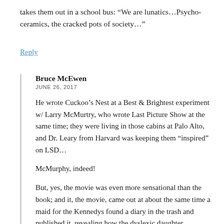takes them out in a school bus: “We are lunatics…Psycho-ceramics, the cracked pots of society…”
Reply
Bruce McEwen
JUNE 26, 2017
He wrote Cuckoo’s Nest at a Best & Brightest experiment w/ Larry McMurtry, who wrote Last Picture Show at the same time; they were living in those cabins at Palo Alto, and Dr. Leary from Harvard was keeping them “inspired” on LSD…
McMurphy, indeed!
But, yes, the movie was even more sensational than the book; and it, the movie, came out at about the same time a maid for the Kennedys found a diary in the trash and published it, revealing how the dyslexic daughter Rosemary, had been sent to a Wisconsin Mental Hospital and given a lobotomy.